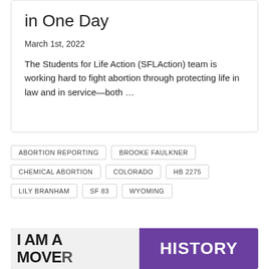in One Day
March 1st, 2022
The Students for Life Action (SFLAction) team is working hard to fight abortion through protecting life in law and in service—both …
ABORTION REPORTING
BROOKE FAULKNER
CHEMICAL ABORTION
COLORADO
HB 2275
LILY BRANHAM
SF 83
WYOMING
[Figure (photo): Photo of people holding signs reading 'I AM A MOVER' and 'HISTORY' on a purple banner]